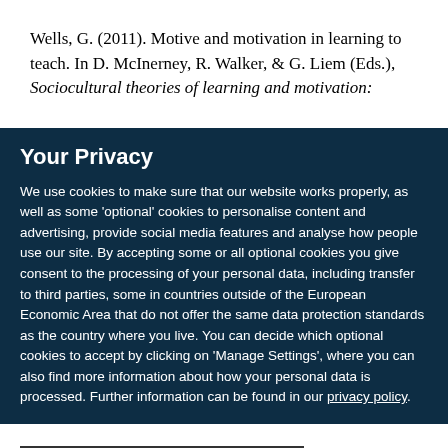Wells, G. (2011). Motive and motivation in learning to teach. In D. McInerney, R. Walker, & G. Liem (Eds.), Sociocultural theories of learning and motivation:
Your Privacy
We use cookies to make sure that our website works properly, as well as some ‘optional’ cookies to personalise content and advertising, provide social media features and analyse how people use our site. By accepting some or all optional cookies you give consent to the processing of your personal data, including transfer to third parties, some in countries outside of the European Economic Area that do not offer the same data protection standards as the country where you live. You can decide which optional cookies to accept by clicking on ‘Manage Settings’, where you can also find more information about how your personal data is processed. Further information can be found in our privacy policy.
Accept all cookies
Manage preferences